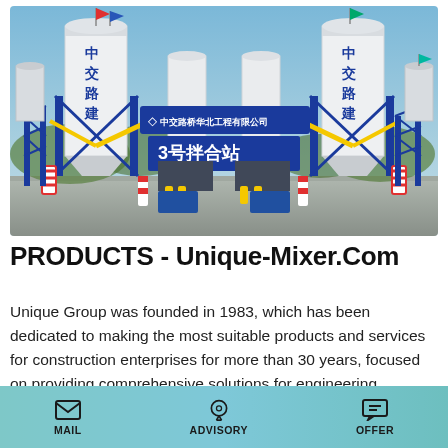[Figure (photo): Concrete mixing plant with large white cylindrical silos labeled in Chinese characters (中交路建), blue steel framework structures, yellow conveyor arms, and a blue banner reading 中交路桥华北工程有限公司 and 3号拌合站. Blue sky background with hills.]
PRODUCTS - Unique-Mixer.Com
Unique Group was founded in 1983, which has been dedicated to making the most suitable products and services for construction enterprises for more than 30 years, focused on providing comprehensive solutions for engineering
MAIL   ADVISORY   OFFER